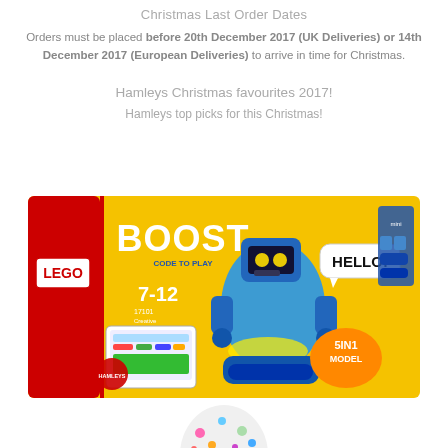Christmas Last Order Dates
Orders must be placed before 20th December 2017 (UK Deliveries) or 14th December 2017 (European Deliveries) to arrive in time for Christmas.
Hamleys Christmas favourites 2017!
Hamleys top picks for this Christmas!
[Figure (photo): LEGO Boost Creative Toolbox set box, product 17101, age 7-12, 5-in-1 model, showing a blue robot with HELLO! speech bubble on yellow box background]
[Figure (photo): Partially visible round egg-shaped toy at bottom of page, white with colorful spots]